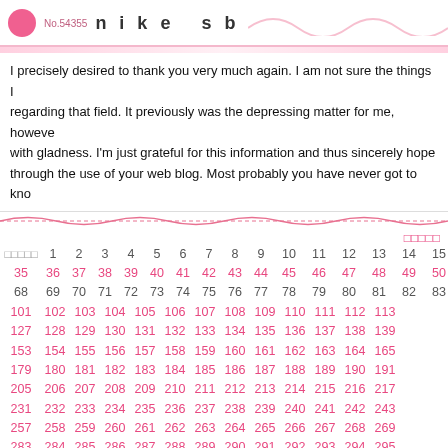No.54355  nike sb
I precisely desired to thank you very much again. I am not sure the things I regarding that field. It previously was the depressing matter for me, however with gladness. I'm just grateful for this information and thus sincerely hope through the use of your web blog. Most probably you have never got to kno
□□□□□ 1 2 3 4 5 6 7 8 9 10 11 12 13 14 15 16 17 18 35 36 37 38 39 40 41 42 43 44 45 46 47 48 49 50 5 68 69 70 71 72 73 74 75 76 77 78 79 80 81 82 83 84 101 102 103 104 105 106 107 108 109 110 111 112 113 127 128 129 130 131 132 133 134 135 136 137 138 139 153 154 155 156 157 158 159 160 161 162 163 164 165 179 180 181 182 183 184 185 186 187 188 189 190 191 205 206 207 208 209 210 211 212 213 214 215 216 217 231 232 233 234 235 236 237 238 239 240 241 242 243 257 258 259 260 261 262 263 264 265 266 267 268 269 283 284 285 286 287 288 289 290 291 292 293 294 295 309 310 311 312 313 314 315 316 317 318 319 320 321